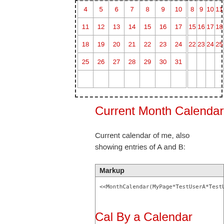[Figure (other): Two calendar grids (left and right, partially visible) inside a dashed bounding box, showing dates with red numerals]
Current Month Calendar
Current calendar of me, also showing entries of A and B:
| Markup |
| --- |
| <<MonthCalendar(MyPage*TestUserA*TestUserB)> |
Cal By a Calendar